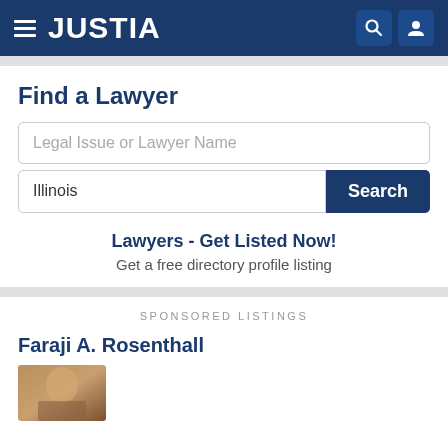JUSTIA
Find a Lawyer
Legal Issue or Lawyer Name
Illinois
Search
Lawyers - Get Listed Now!
Get a free directory profile listing
SPONSORED LISTINGS
Faraji A. Rosenthall
[Figure (photo): Partial photo of lawyer Faraji A. Rosenthall]